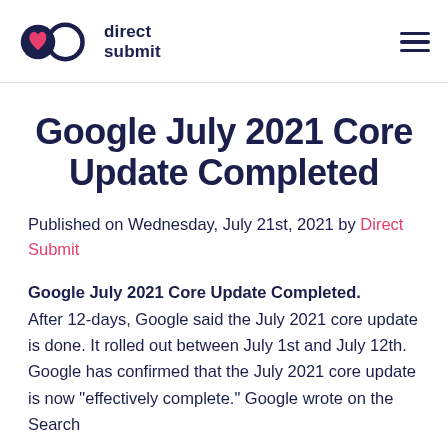direct submit
Google July 2021 Core Update Completed
Published on Wednesday, July 21st, 2021 by Direct Submit
Google July 2021 Core Update Completed. After 12-days, Google said the July 2021 core update is done. It rolled out between July 1st and July 12th. Google has confirmed that the July 2021 core update is now “effectively complete.” Google wrote on the Search